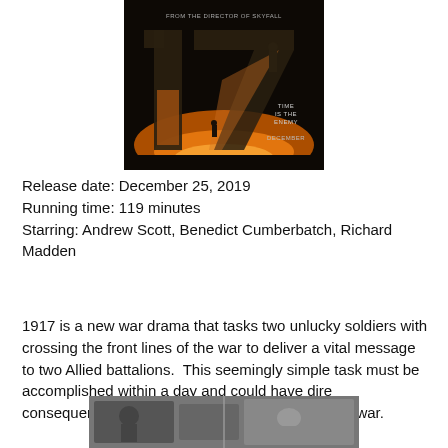[Figure (photo): Movie poster for '1917' showing large stylized '17' numerals with a soldier silhouette against a sunset/orange sky background. Text reads 'FROM THE DIRECTOR OF SKYFALL', 'TIME IS THE ENEMY', 'DECEMBER']
Release date: December 25, 2019
Running time: 119 minutes
Starring: Andrew Scott, Benedict Cumberbatch, Richard Madden
1917 is a new war drama that tasks two unlucky soldiers with crossing the front lines of the war to deliver a vital message to two Allied battalions.  This seemingly simple task must be accomplished within a day and could have dire consequences for those battalions and the overall war.
[Figure (photo): Black and white still from the film 1917 showing soldiers in a wartime scene]